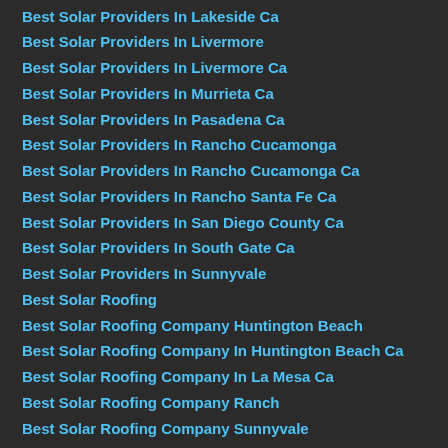Best Solar Providers In Lakeside Ca
Best Solar Providers In Livermore
Best Solar Providers In Livermore Ca
Best Solar Providers In Murrieta Ca
Best Solar Providers In Pasadena Ca
Best Solar Providers In Rancho Cucamonga
Best Solar Providers In Rancho Cucamonga Ca
Best Solar Providers In Rancho Santa Fe Ca
Best Solar Providers In San Diego County Ca
Best Solar Providers In South Gate Ca
Best Solar Providers In Sunnyvale
Best Solar Roofing
Best Solar Roofing Company Huntington Beach
Best Solar Roofing Company In Huntington Beach Ca
Best Solar Roofing Company In La Mesa Ca
Best Solar Roofing Company Ranch
Best Solar Roofing Company Sunnyvale